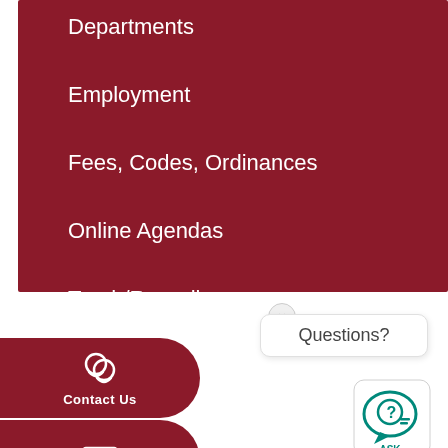Departments
Employment
Fees, Codes, Ordinances
Online Agendas
Trash/Recycling
Questions?
Contact Us
[Figure (screenshot): ASK chat widget icon with teal speech bubble and question mark]
[Figure (illustration): Close (x) button for the Questions popup]